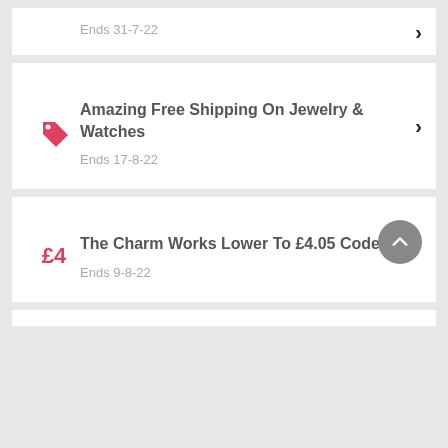Ends 31-7-22
Amazing Free Shipping On Jewelry & Watches
Ends 17-8-22
The Charm Works Lower To £4.05 Code
Ends 9-8-22